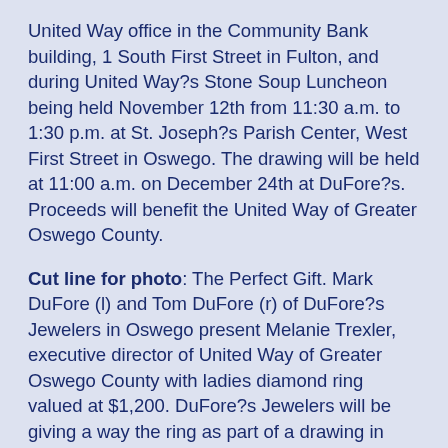United Way office in the Community Bank building, 1 South First Street in Fulton, and during United Way?s Stone Soup Luncheon being held November 12th from 11:30 a.m. to 1:30 p.m. at St. Joseph?s Parish Center, West First Street in Oswego. The drawing will be held at 11:00 a.m. on December 24th at DuFore?s. Proceeds will benefit the United Way of Greater Oswego County.
Cut line for photo: The Perfect Gift. Mark DuFore (l) and Tom DuFore (r) of DuFore?s Jewelers in Oswego present Melanie Trexler, executive director of United Way of Greater Oswego County with ladies diamond ring valued at $1,200. DuFore?s Jewelers will be giving a way the ring as part of a drawing in support of the United Way?s 8th Annual Campaign. Tickets are available at the United Way office in the Community Bank building, 1 South First Street in Fulton, during United Way?s Stone Soup Luncheon being held Thursday, November 12th from 11:30 a.m. to 1:30 p.m. at St. Joseph?s Parish